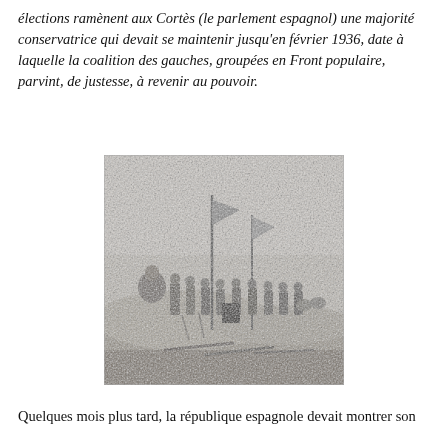élections ramènent aux Cortès (le parlement espagnol) une majorité conservatrice qui devait se maintenir jusqu'en février 1936, date à laquelle la coalition des gauches, groupées en Front populaire, parvint, de justesse, à revenir au pouvoir.
[Figure (photo): Black and white historical photograph showing a group of people standing outdoors, with flags raised on poles behind them. A figure on the left appears to be speaking or gesturing toward the group.]
Quelques mois plus tard, la république espagnole devait montrer son